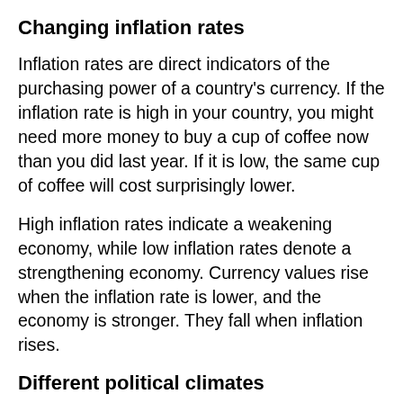Changing inflation rates
Inflation rates are direct indicators of the purchasing power of a country's currency. If the inflation rate is high in your country, you might need more money to buy a cup of coffee now than you did last year. If it is low, the same cup of coffee will cost surprisingly lower.
High inflation rates indicate a weakening economy, while low inflation rates denote a strengthening economy. Currency values rise when the inflation rate is lower, and the economy is stronger. They fall when inflation rises.
Different political climates
Economy and politics are tied at the hip. Bad political temperatures can lead to the weakening of a country's currency and cause it to trade for less in the forex market. That is why you find that 1 USD can be worth thousands in countries with unstable politics from Venezuela to Zimbabwe. When politics is bad, it